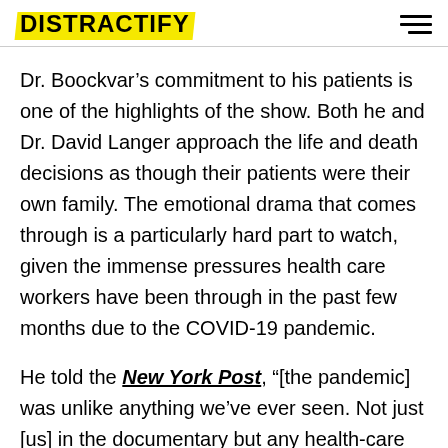DISTRACTIFY
Dr. Boockvar’s commitment to his patients is one of the highlights of the show. Both he and Dr. David Langer approach the life and death decisions as though their patients were their own family. The emotional drama that comes through is a particularly hard part to watch, given the immense pressures health care workers have been through in the past few months due to the COVID-19 pandemic.
He told the New York Post, “[the pandemic] was unlike anything we’ve ever seen. Not just [us] in the documentary but any health-care professional. We never